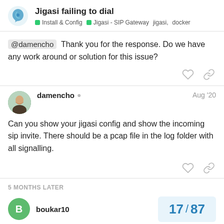Jigasi failing to dial | Install & Config | Jigasi - SIP Gateway | jigasi, docker
@damencho Thank you for the response. Do we have any work around or solution for this issue?
damencho Aug '20
Can you show your jigasi config and show the incoming sip invite. There should be a pcap file in the log folder with all signalling.
5 MONTHS LATER
boukar10  17 / 87